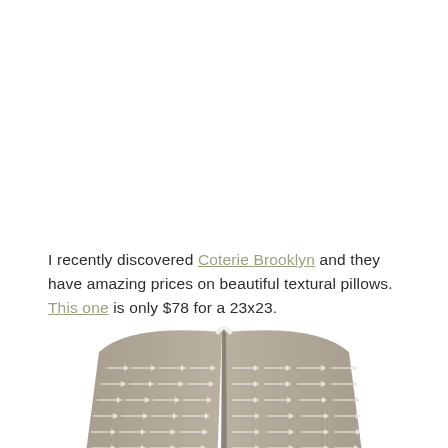I recently discovered Coterie Brooklyn and they have amazing prices on beautiful textural pillows. This one is only $78 for a 23x23.
[Figure (photo): A taupe/gray decorative throw pillow with white arrow/dash pattern, shown propped up with a slight fold at the top center.]